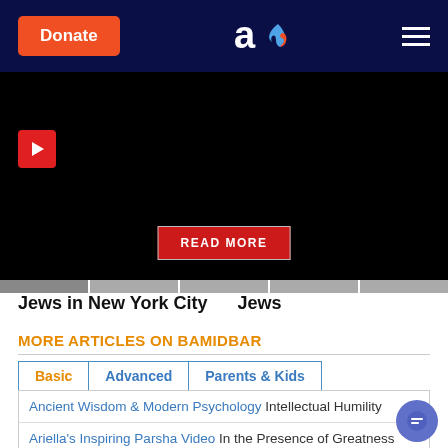Donate | Aish logo | Menu
[Figure (screenshot): Black video player area with red play button and READ MORE button in center]
Jews in New York City   Jews
MORE ARTICLES ON BAMIDBAR
Tabs: Basic | Advanced | Parents & Kids
Ancient Wisdom & Modern Psychology Intellectual Humility
Ariella's Inspiring Parsha Video In the Presence of Greatness
Art of Revelation Tents